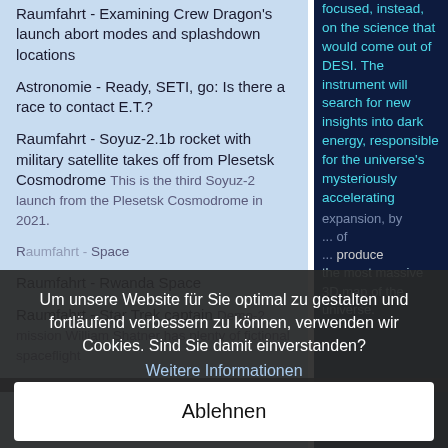Raumfahrt - Examining Crew Dragon's launch abort modes and splashdown locations
Astronomie - Ready, SETI, go: Is there a race to contact E.T.?
Raumfahrt - Soyuz-2.1b rocket with military satellite takes off from Plesetsk Cosmodrome This is the third Soyuz-2 launch from the Plesetsk Cosmodrome in 2021.
R... Space
Raumfahrt - Rwanda Space
Raumfahrt - Star Trek captain Demo-2 mission William Shatner has plenty of fictional spaceflight
The meeting content focused, instead, on the science that would come out of DESI. The instrument will search for new insights into dark energy, responsible for the universe's mysteriously accelerating expansion, by ... of ... produce the most massive 3D map of the universe.
Um unsere Website für Sie optimal zu gestalten und fortläufend verbessern zu können, verwenden wir Cookies. Sind Sie damit einverstanden?
Weitere Informationen
Ablehnen
Ja, ich bin einverstanden